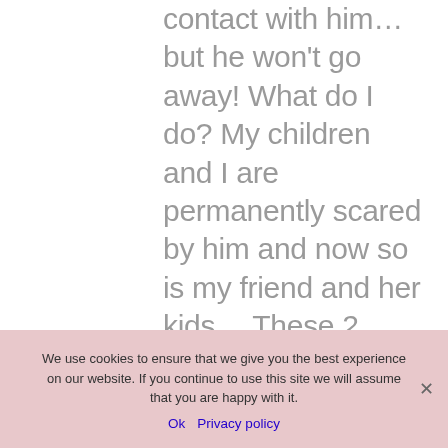contact with him… but he won't go away! What do I do? My children and I are permanently scared by him and now so is my friend and her kids… These 2 people have zero remorse for what they are doing and feel they are the victims.
We use cookies to ensure that we give you the best experience on our website. If you continue to use this site we will assume that you are happy with it.